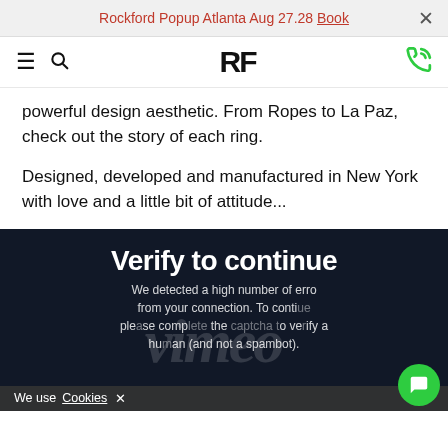Rockford Popup Atlanta Aug 27.28 Book ×
[Figure (logo): RF logo with hamburger menu, search icon, and phone icon navigation bar]
powerful design aesthetic. From Ropes to La Paz, check out the story of each ring.
Designed, developed and manufactured in New York with love and a little bit of attitude...
[Figure (screenshot): Vimeo 'Verify to continue' overlay on dark navy background with large italic Vimeo watermark text, body text reading 'We detected a high number of errors from your connection. To continue, please complete the captcha to verify you are a human (and not a spambot).' Cookie notice bar at bottom reading 'We use Cookies ×']